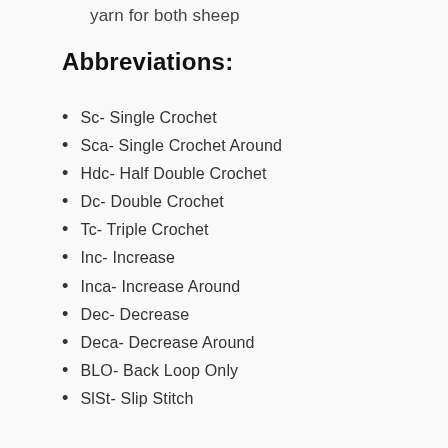yarn for both sheep
Abbreviations:
Sc- Single Crochet
Sca- Single Crochet Around
Hdc- Half Double Crochet
Dc- Double Crochet
Tc- Triple Crochet
Inc- Increase
Inca- Increase Around
Dec- Decrease
Deca- Decrease Around
BLO- Back Loop Only
SlSt- Slip Stitch